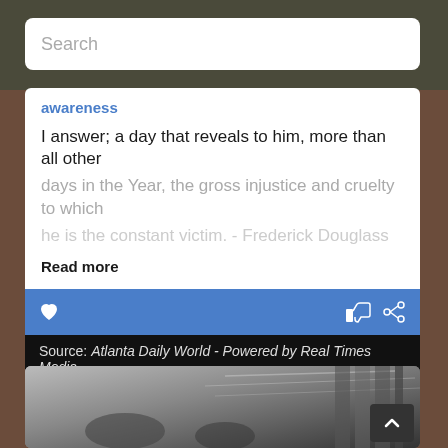Search
awareness
I answer; a day that reveals to him, more than all other days in the Year, the gross injustice and cruelty to which he is the constant victim. - Frederick Douglass
Read more
Source: Atlanta Daily World - Powered by Real Times Media
Sponsored by Concerned Black Men of Massachusetts
[Figure (photo): Black and white historical photograph showing people outdoors near a building structure]